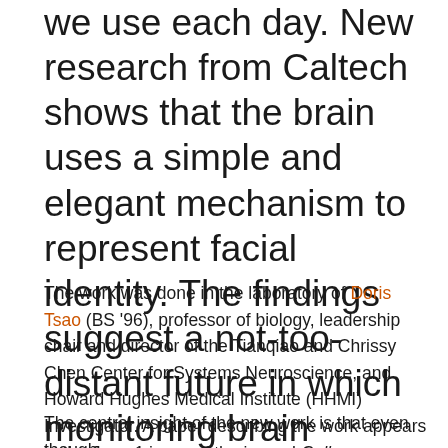we use each day. New research from Caltech shows that the brain uses a simple and elegant mechanism to represent facial identity. The findings suggest a not-too-distant future in which monitoring brain activity can lead to a reconstruction of what a person is seeing.
The work was done in the laboratory of Doris Tsao (BS '96), professor of biology, leadership chair and director of the Tianqiao and Chrissy Chen Center for Systems Neuroscience, and Howard Hughes Medical Institute (HHMI) Investigator. A paper describing the work appears in the June 1 issue of the journal Cell.
The central insight of the new work is that even though